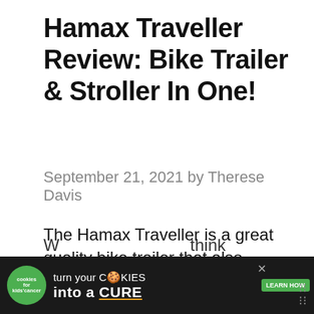Hamax Traveller Review: Bike Trailer & Stroller In One!
September 21, 2021 by Therese Davis
The Hamax Traveller is a great quality bike trailer that also converts into a stroller. In fact, it's so great, it changed our minds on bike trailers!
[Figure (screenshot): Advertisement banner: cookies for kids' cancer — turn your COOKIES into a CURE. LEARN HOW button. Close button (x) visible. Dark background with green accents.]